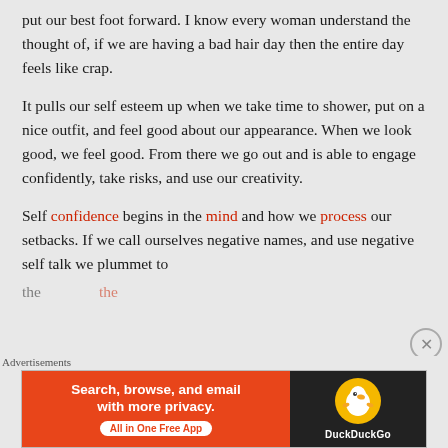put our best foot forward. I know every woman understand the thought of, if we are having a bad hair day then the entire day feels like crap.
It pulls our self esteem up when we take time to shower, put on a nice outfit, and feel good about our appearance. When we look good, we feel good. From there we go out and is able to engage confidently, take risks, and use our creativity.
Self confidence begins in the mind and how we process our setbacks. If we call ourselves negative names, and use negative self talk we plummet to [partial line cut off]
[Figure (other): DuckDuckGo advertisement banner: orange left side with text 'Search, browse, and email with more privacy.' and 'All in One Free App' button, black right side with DuckDuckGo duck logo and DuckDuckGo text]